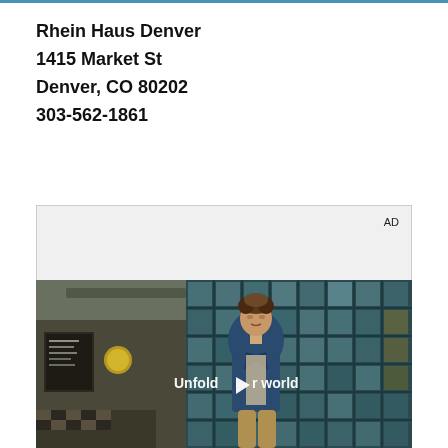Rhein Haus Denver
1415 Market St
Denver, CO 80202
303-562-1861
[Figure (other): Advertisement placeholder with 'AD' label and a video screenshot showing a young man in a denim jacket standing in front of a teal grid-tile wall. Text overlay reads 'Unfold your world' with a play button icon.]